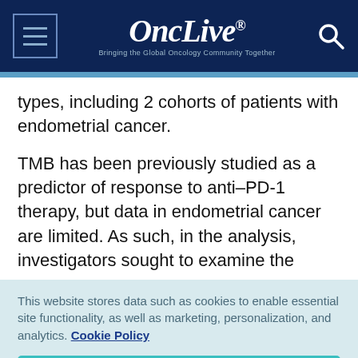OncLive — Bringing the Global Oncology Community Together
types, including 2 cohorts of patients with endometrial cancer.
TMB has been previously studied as a predictor of response to anti–PD-1 therapy, but data in endometrial cancer are limited. As such, in the analysis, investigators sought to examine the
This website stores data such as cookies to enable essential site functionality, as well as marketing, personalization, and analytics. Cookie Policy
Accept
Deny